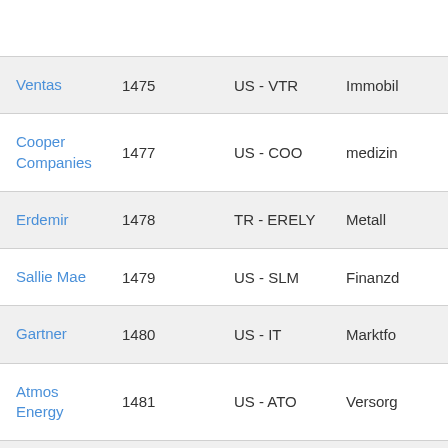| Name | Nr. | Ticker | Branche |
| --- | --- | --- | --- |
| Ventas | 1475 | US - VTR | Immobil... |
| Cooper Companies | 1477 | US - COO | medizin... |
| Erdemir | 1478 | TR - ERELY | Metall |
| Sallie Mae | 1479 | US - SLM | Finanzd... |
| Gartner | 1480 | US - IT | Marktfo... |
| Atmos Energy | 1481 | US - ATO | Versorg... |
| BCI - Banco de Credito e Inversiones | 1482 | CL - BCI | Banken |
| Lotto Shopping | 1483 | KR - 023530 | Einzelh... |